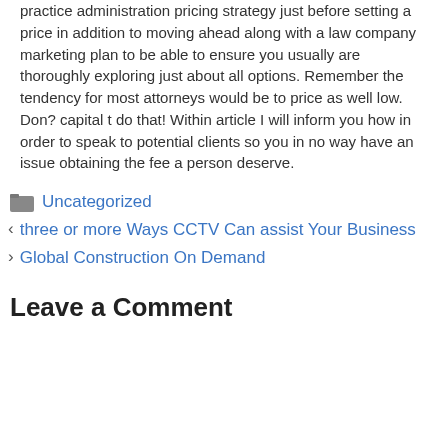practice administration pricing strategy just before setting a price in addition to moving ahead along with a law company marketing plan to be able to ensure you usually are thoroughly exploring just about all options. Remember the tendency for most attorneys would be to price as well low. Don? capital t do that! Within article I will inform you how in order to speak to potential clients so you in no way have an issue obtaining the fee a person deserve.
Uncategorized
three or more Ways CCTV Can assist Your Business
Global Construction On Demand
Leave a Comment